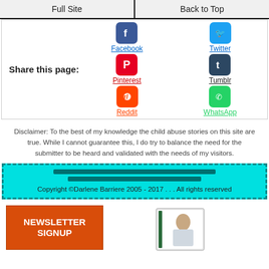Full Site | Back to Top
Share this page:
Facebook Twitter Pinterest Tumblr Reddit WhatsApp
Disclaimer: To the best of my knowledge the child abuse stories on this site are true. While I cannot guarantee this, I do try to balance the need for the submitter to be heard and validated with the needs of my visitors.
Copyright ©Darlene Barriere 2005 - 2017 . . . All rights reserved
NEWSLETTER SIGNUP